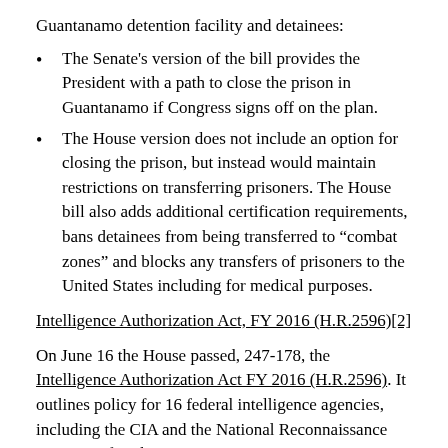Guantanamo detention facility and detainees:
The Senate's version of the bill provides the President with a path to close the prison in Guantanamo if Congress signs off on the plan.
The House version does not include an option for closing the prison, but instead would maintain restrictions on transferring prisoners. The House bill also adds additional certification requirements, bans detainees from being transferred to “combat zones” and blocks any transfers of prisoners to the United States including for medical purposes.
Intelligence Authorization Act, FY 2016 (H.R.2596)[2]
On June 16 the House passed, 247-178, the Intelligence Authorization Act FY 2016 (H.R.2596). It outlines policy for 16 federal intelligence agencies, including the CIA and the National Reconnaissance Agency. After the vote